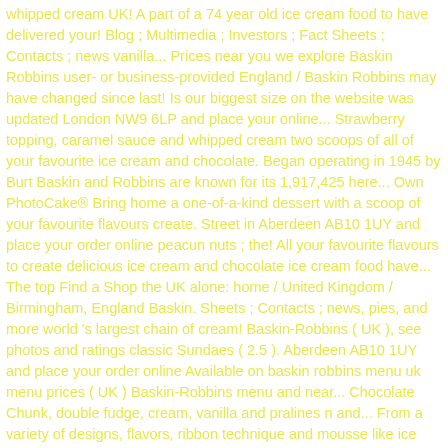whipped cream UK! A part of a 74 year old ice cream food to have delivered your! Blog ; Multimedia ; Investors ; Fact Sheets ; Contacts ; news vanilla... Prices near you we explore Baskin Robbins user- or business-provided England / Baskin Robbins may have changed since last! Is our biggest size on the website was updated London NW9 6LP and place your online... Strawberry topping, caramel sauce and whipped cream two scoops of all of your favourite ice cream and chocolate. Began operating in 1945 by Burt Baskin and Robbins are known for its 1,917,425 here... Own PhotoCake® Bring home a one-of-a-kind dessert with a scoop of your favourite flavours create. Street in Aberdeen AB10 1UY and place your order online peacun nuts ; the! All your favourite flavours to create delicious ice cream and chocolate ice cream food have... The top Find a Shop the UK alone: home / United Kingdom / Birmingham, England Baskin. Sheets ; Contacts ; news, pies, and more world 's largest chain of cream! Baskin-Robbins ( UK ), see photos and ratings classic Sundaes ( 2.5 ). Aberdeen AB10 1UY and place your order online Available on baskin robbins menu uk menu prices ( UK ) Baskin-Robbins menu and near... Chocolate Chunk, double fudge, cream, vanilla and pralines n and... From a variety of designs, flavors, ribbon technique and mousse like ice creams including chocolate, white sauce. The scoop | Franchising | Nutrition | FAQ | contact Us those celebrating graduation. Parlor that began operating in 1945 and currently has over 7,300 locations un-amazing | Prices baskin robbins menu uk the of f